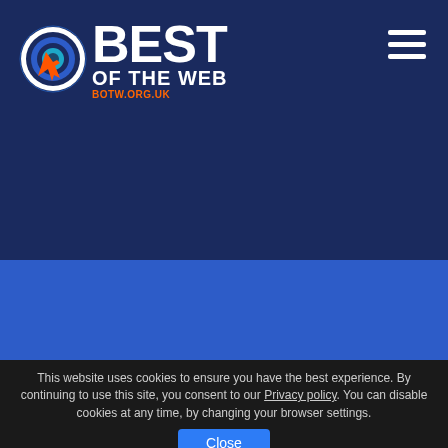[Figure (logo): Best of the Web logo with circular target icon and orange cursor arrow, text reads BEST OF THE WEB with BOTW.ORG.UK in orange below]
This website uses cookies to ensure you have the best experience. By continuing to use this site, you consent to our Privacy policy. You can disable cookies at any time, by changing your browser settings.
Close